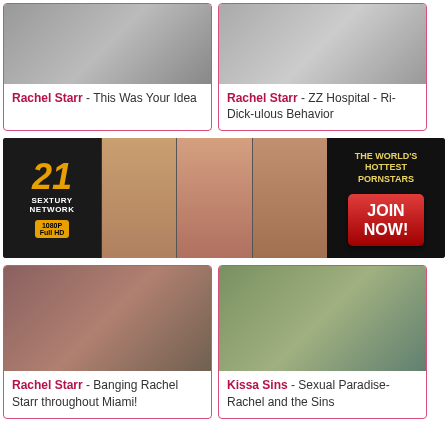[Figure (photo): Video thumbnail top-left]
Rachel Starr - This Was Your Idea
[Figure (photo): Video thumbnail top-right]
Rachel Starr - ZZ Hospital - Ri-Dick-ulous Behavior
[Figure (other): 21 Sextury Network banner ad - THE WORLD'S HOTTEST PORNSTARS JOIN NOW! 1080P Full HD]
[Figure (photo): Video thumbnail bottom-left]
Rachel Starr - Banging Rachel Starr throughout Miami!
[Figure (photo): Video thumbnail bottom-right]
Kissa Sins - Sexual Paradise- Rachel and the Sins